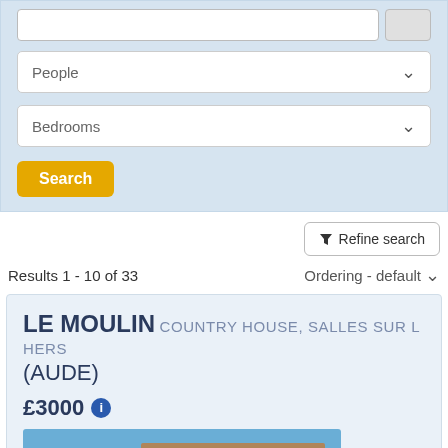[Figure (screenshot): Search form panel with People and Bedrooms dropdown selectors and a Search button on light blue background]
[Figure (screenshot): Refine search button with filter icon]
Results 1 - 10 of 33
Ordering - default
LE MOULIN COUNTRY HOUSE, SALLES SUR L HERS (AUDE)
£3000
[Figure (photo): Exterior photo of Le Moulin country house with pool, sun loungers, terrace and garden in France]